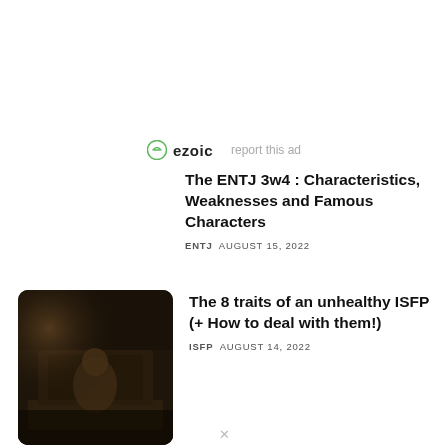[Figure (logo): Ezoic logo with green circle icon and 'ezoic' text, followed by 'report this ad' link in gray]
The ENTJ 3w4 : Characteristics, Weaknesses and Famous Characters
ENTJ  AUGUST 15, 2022
[Figure (photo): Dark moody photo of a person sitting on a bed in a dimly lit room with wooden furniture]
The 8 traits of an unhealthy ISFP (+ How to deal with them!)
ISFP  AUGUST 14, 2022